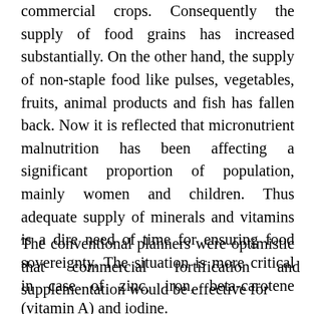commercial crops. Consequently the supply of food grains has increased substantially. On the other hand, the supply of non-staple food like pulses, vegetables, fruits, animal products and fish has fallen back. Now it is reflected that micronutrient malnutrition has been affecting a significant proportion of population, mainly women and children. Thus adequate supply of minerals and vitamins is a dire need of time for ensuring food sovereignty. The situation is more critical in case of zinc, iron, beta-carotene (vitamin A) and iodine.
The conventional planners were optimistic that commercial fortification and supplementation would be effective for